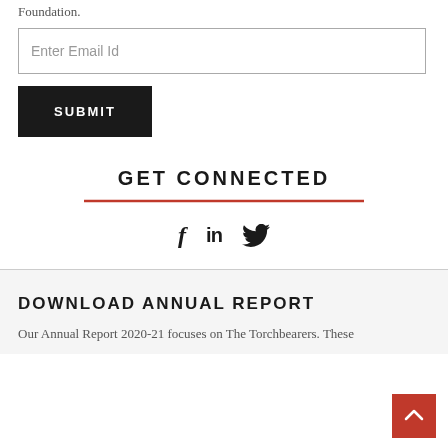Foundation.
Enter Email Id
SUBMIT
GET CONNECTED
[Figure (illustration): Social media icons: Facebook (f), LinkedIn (in), Twitter (bird icon)]
DOWNLOAD ANNUAL REPORT
Our Annual Report 2020-21 focuses on The Torchbearers. These